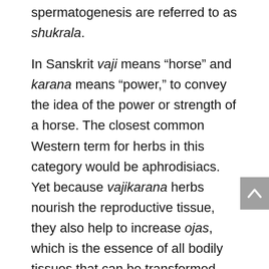spermatogenesis are referred to as shukrala.
In Sanskrit vaji means “horse” and karana means “power,” to convey the idea of the power or strength of a horse. The closest common Western term for herbs in this category would be aphrodisiacs. Yet because vajikarana herbs nourish the reproductive tissue, they also help to increase ojas, which is the essence of all bodily tissues that can be transformed into spiritual energy.
Vajikarana herbs can act as stimulants, tonics or both. Stimulants are typically heating and rajasic like damiana, fenugreek garlic, and onion. The cholesterol...